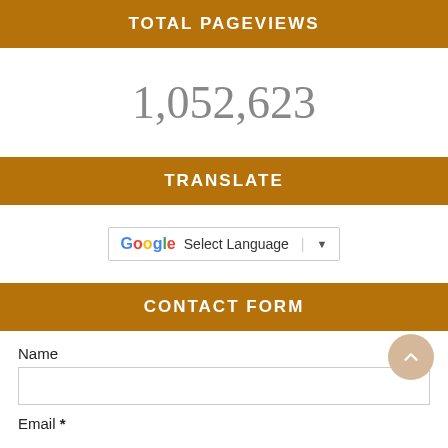TOTAL PAGEVIEWS
1,052,623
TRANSLATE
[Figure (other): Google Translate widget with 'Select Language' dropdown and arrow button]
CONTACT FORM
Name
Email *